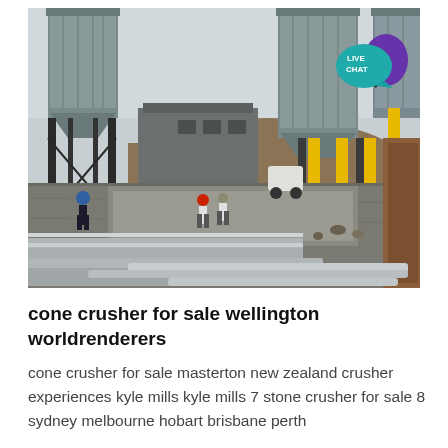[Figure (photo): Industrial construction site with large gray cylindrical silos, yellow steel support columns, workers in hard hats on a concrete pad, piles of earth and materials, metal beams in foreground, overcast sky. A 'LIVE CHAT' bubble overlay appears in the top right corner.]
cone crusher for sale wellington worldrenderers
cone crusher for sale masterton new zealand crusher experiences kyle mills kyle mills 7 stone crusher for sale 8 sydney melbourne hobart brisbane perth